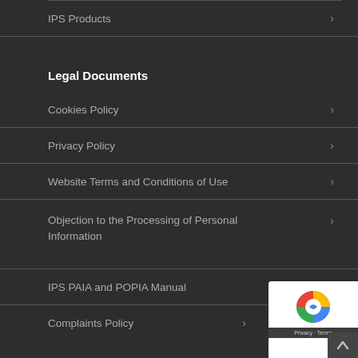IPS Products
Legal Documents
Cookies Policy
Privacy Policy
Website Terms and Conditions of Use
Objection to the Processing of Personal Information
IPS PAIA and POPIA Manual
Complaints Policy